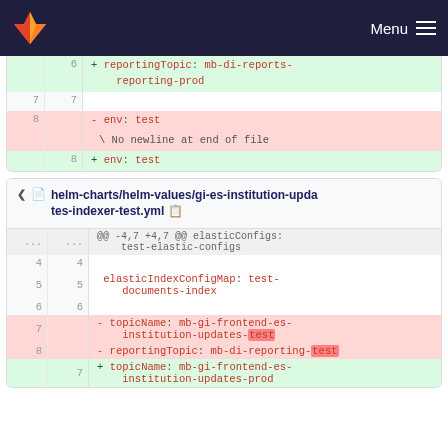Menu
[Figure (screenshot): GitLab diff view showing two file changes. First partial diff shows lines 6-8 with reportingTopic and env changes. Second diff shows helm-charts/helm-values/gi-es-institution-updates-indexer-test.yml with changes to topicName and reportingTopic fields.]